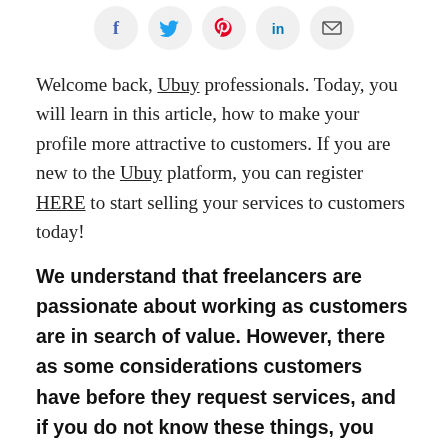[Figure (other): Row of five social sharing icon buttons (Facebook, Twitter, Pinterest, LinkedIn, Email) each in a light grey circle]
Welcome back, Ubuy professionals. Today, you will learn in this article, how to make your profile more attractive to customers. If you are new to the Ubuy platform, you can register HERE to start selling your services to customers today!
We understand that freelancers are passionate about working as customers are in search of value. However, there as some considerations customers have before they request services, and if you do not know these things, you end up losing customers that could be yours without even knowing it.